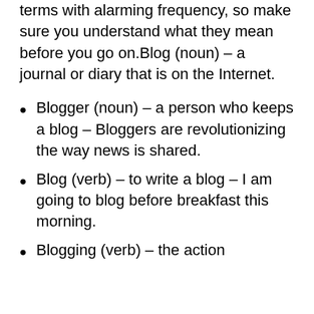terms with alarming frequency, so make sure you understand what they mean before you go on.Blog (noun) – a journal or diary that is on the Internet.
Blogger (noun) – a person who keeps a blog – Bloggers are revolutionizing the way news is shared.
Blog (verb) – to write a blog – I am going to blog before breakfast this morning.
Blogging (verb) – the action